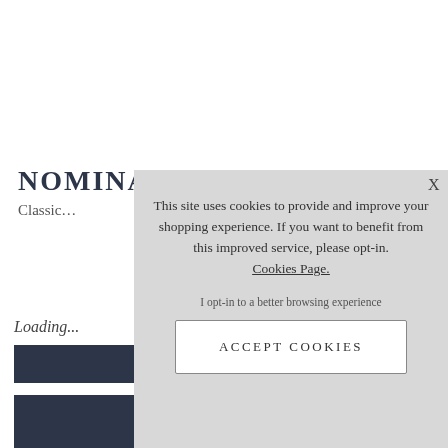NOMINATION ITALY
Classic...
Loading...
[Figure (other): Dark navy button/bar elements and ASK A QUESTION text in background]
This site uses cookies to provide and improve your shopping experience. If you want to benefit from this improved service, please opt-in. Cookies Page.
I opt-in to a better browsing experience
ACCEPT COOKIES